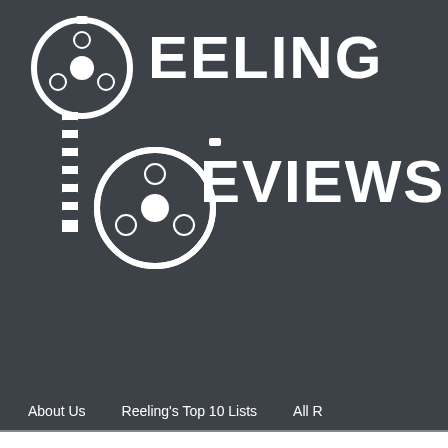[Figure (logo): Reeling Reviews website header with film reel logo graphic, showing two film reels with filmstrip connecting them, and the text REELING REVIEWS in large white bold letters on a dark gray background]
About Us   Reeling's Top 10 Lists   All R
Dark Matter
[Figure (photo): A person seated in front of a blue and white patterned background display, partially visible at the bottom right of the page]